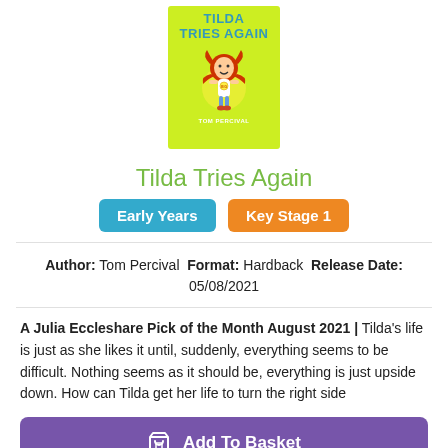[Figure (illustration): Book cover of Tilda Tries Again by Tom Percival — lime green cover with the title in blue text and a cartoon red-haired girl character in the center]
Tilda Tries Again
Early Years  Key Stage 1
Author: Tom Percival Format: Hardback Release Date: 05/08/2021
A Julia Eccleshare Pick of the Month August 2021 | Tilda's life is just as she likes it until, suddenly, everything seems to be difficult. Nothing seems as it should be, everything is just upside down. How can Tilda get her life to turn the right side
Add To Basket
Add To A Reading List